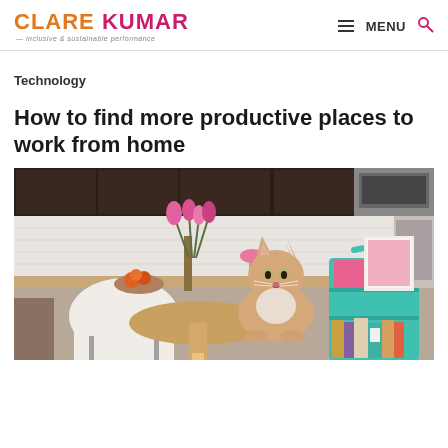CLARE KUMAR — inclusive & sustainable performance | MENU
Technology
How to find more productive places to work from home
[Figure (photo): A tan/orange cat sitting on a round wooden dining table in a kitchen, with a teal rolling cart filled with books and pink files to the right, flowers and fruit bowl in the background, dark kitchen cabinets visible]